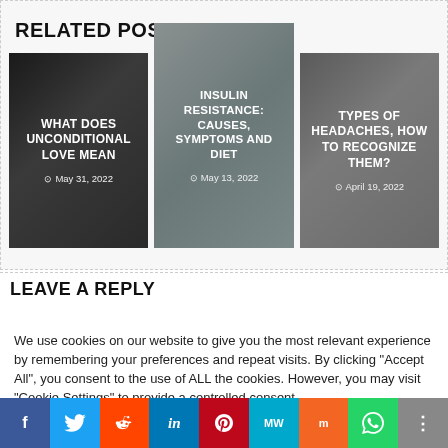RELATED POSTS
[Figure (photo): Card: WHAT DOES UNCONDITIONAL LOVE MEAN – May 31, 2022]
[Figure (photo): Card: INSULIN RESISTANCE: CAUSES, SYMPTOMS AND DIET – May 13, 2022]
[Figure (photo): Card: TYPES OF HEADACHES, HOW TO RECOGNIZE THEM? – April 19, 2022]
LEAVE A REPLY
We use cookies on our website to give you the most relevant experience by remembering your preferences and repeat visits. By clicking "Accept All", you consent to the use of ALL the cookies. However, you may visit "Cookie Settings" to provide a controlled consent.
Cookie Settings | Accept All
f  Twitter  Reddit  in  Pinterest  MW  Mix  WhatsApp  Share